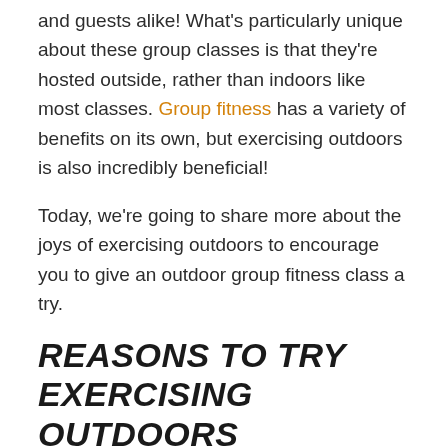and guests alike! What's particularly unique about these group classes is that they're hosted outside, rather than indoors like most classes. Group fitness has a variety of benefits on its own, but exercising outdoors is also incredibly beneficial!
Today, we're going to share more about the joys of exercising outdoors to encourage you to give an outdoor group fitness class a try.
REASONS TO TRY EXERCISING OUTDOORS
Here are some of the impressive benefits